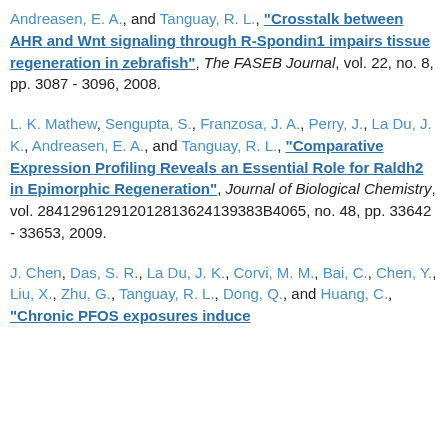Andreasen, E. A., and Tanguay, R. L., "Crosstalk between AHR and Wnt signaling through R-Spondin1 impairs tissue regeneration in zebrafish", The FASEB Journal, vol. 22, no. 8, pp. 3087 - 3096, 2008.
L. K. Mathew, Sengupta, S., Franzosa, J. A., Perry, J., La Du, J. K., Andreasen, E. A., and Tanguay, R. L., "Comparative Expression Profiling Reveals an Essential Role for Raldh2 in Epimorphic Regeneration", Journal of Biological Chemistry, vol. 284129612912012813624139383B4065, no. 48, pp. 33642 - 33653, 2009.
J. Chen, Das, S. R., La Du, J. K., Corvi, M. M., Bai, C., Chen, Y., Liu, X., Zhu, G., Tanguay, R. L., Dong, Q., and Huang, C., "Chronic PFOS exposures induce...